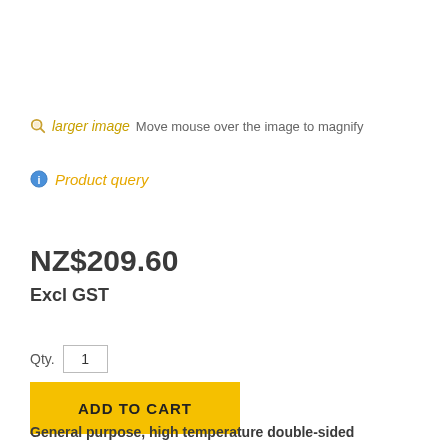larger image  Move mouse over the image to magnify
Product query
NZ$209.60
Excl GST
Qty. 1
ADD TO CART
General purpose, high temperature double-sided